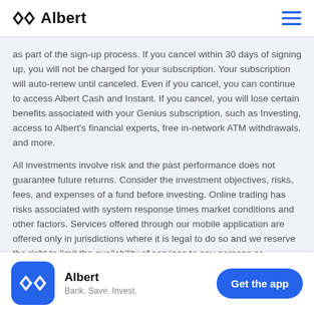Albert
as part of the sign-up process. If you cancel within 30 days of signing up, you will not be charged for your subscription. Your subscription will auto-renew until canceled. Even if you cancel, you can continue to access Albert Cash and Instant. If you cancel, you will lose certain benefits associated with your Genius subscription, such as Investing, access to Albert's financial experts, free in-network ATM withdrawals, and more.
All investments involve risk and the past performance does not guarantee future returns. Consider the investment objectives, risks, fees, and expenses of a fund before investing. Online trading has risks associated with system response times market conditions and other factors. Services offered through our mobile application are offered only in jurisdictions where it is legal to do so and we reserve the right to limit the availability of services to any persons or jurisdictions in our sole
Albert — Bank. Save. Invest. — Get the app